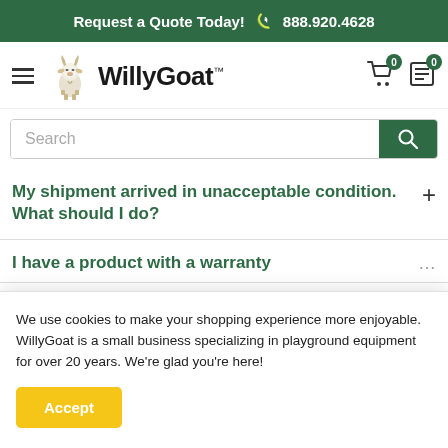Request a Quote Today! 888.920.4628
[Figure (logo): WillyGoat logo with goat illustration and bold text]
[Figure (screenshot): Search bar with green search button]
My shipment arrived in unacceptable condition. What should I do?
I have a product with a warranty
We use cookies to make your shopping experience more enjoyable. WillyGoat is a small business specializing in playground equipment for over 20 years. We're glad you're here!
Accept
information